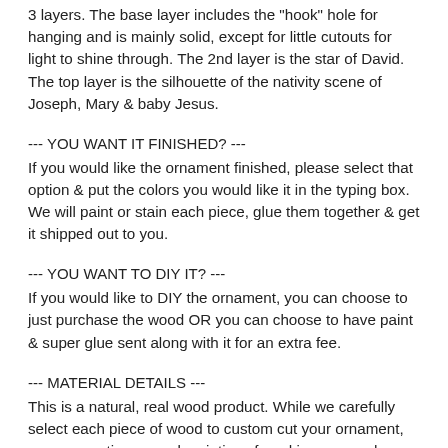3 layers. The base layer includes the 'hook' hole for hanging and is mainly solid, except for little cutouts for light to shine through. The 2nd layer is the star of David. The top layer is the silhouette of the nativity scene of Joseph, Mary & baby Jesus.
--- YOU WANT IT FINISHED? ---
If you would like the ornament finished, please select that option & put the colors you would like it in the typing box. We will paint or stain each piece, glue them together & get it shipped out to you.
--- YOU WANT TO DIY IT? ---
If you would like to DIY the ornament, you can choose to just purchase the wood OR you can choose to have paint & super glue sent along with it for an extra fee.
--- MATERIAL DETAILS ---
This is a natural, real wood product. While we carefully select each piece of wood to custom cut your ornament, you may notice normal variations found in any wood product, such as wood grain, knots and/or lines. These are not imperfections;